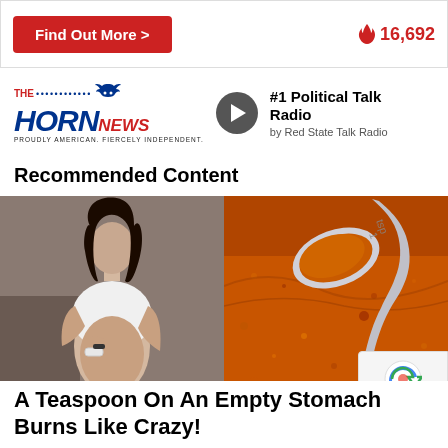[Figure (other): Red button labeled 'Find Out More >' and a fire icon with number 16,692]
[Figure (logo): The Horn News logo - Proudly American. Fiercely Independent. with play button and '#1 Political Talk Radio by Red State Talk Radio']
Recommended Content
[Figure (photo): Split image: left side shows a woman in a white sports top showing her abs, right side shows a teaspoon with orange spice powder]
A Teaspoon On An Empty Stomach Burns Like Crazy!